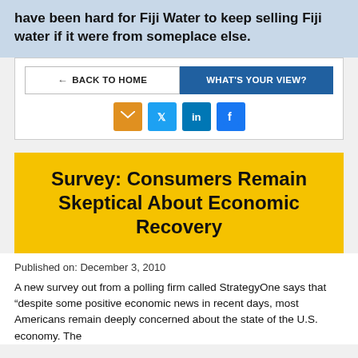have been hard for Fiji Water to keep selling Fiji water if it were from someplace else.
[Figure (screenshot): Navigation bar with 'Back to Home' and 'What's Your View?' buttons, and social sharing icons for email, Twitter, LinkedIn, and Facebook.]
Survey: Consumers Remain Skeptical About Economic Recovery
Published on: December 3, 2010
A new survey out from a polling firm called StrategyOne says that “despite some positive economic news in recent days, most Americans remain deeply concerned about the state of the U.S. economy. The